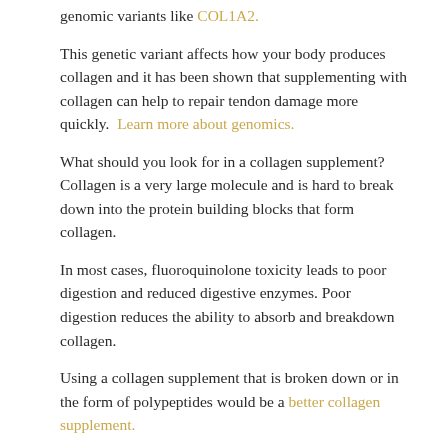genomic variants like COL1A2.
This genetic variant affects how your body produces collagen and it has been shown that supplementing with collagen can help to repair tendon damage more quickly. Learn more about genomics.
What should you look for in a collagen supplement? Collagen is a very large molecule and is hard to break down into the protein building blocks that form collagen.
In most cases, fluoroquinolone toxicity leads to poor digestion and reduced digestive enzymes. Poor digestion reduces the ability to absorb and breakdown collagen.
Using a collagen supplement that is broken down or in the form of polypeptides would be a better collagen supplement.
Always look for a quality collagen supplement product that is from grass fed cows and guaranteed to free of glyphosate contamination like this one.
A study done in 2020 found high levels of contamination of...